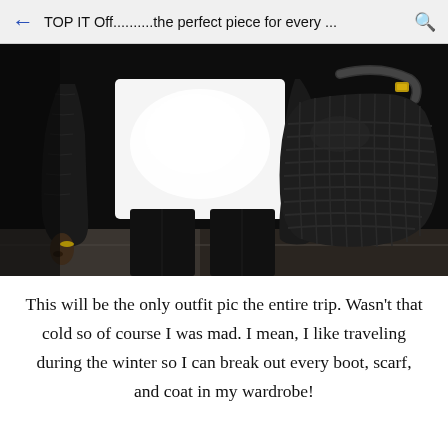TOP IT Off..........the perfect piece for every ...
[Figure (photo): Person wearing black leather jacket, white top, black pants, carrying a large black woven/textured handbag, photographed outdoors at night from waist down.]
This will be the only outfit pic the entire trip. Wasn't that cold so of course I was mad. I mean, I like traveling during the winter so I can break out every boot, scarf, and coat in my wardrobe!